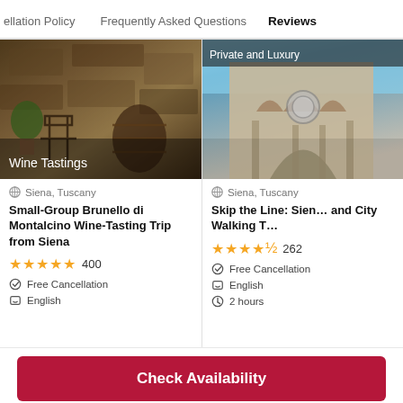Cancellation Policy   Frequently Asked Questions   Reviews
[Figure (photo): Wine tasting venue with stone walls, wrought iron chairs, wine barrel; badge reads 'Wine Tastings']
Siena, Tuscany
Small-Group Brunello di Montalcino Wine-Tasting Trip from Siena
★★★★★ 400
Free Cancellation
English
[Figure (photo): Gothic cathedral facade in Siena; badge reads 'Private and Luxury']
Siena, Tuscany
Skip the Line: Siena and City Walking T…
★★★★½ 262
Free Cancellation
English
2 hours
Check Availability